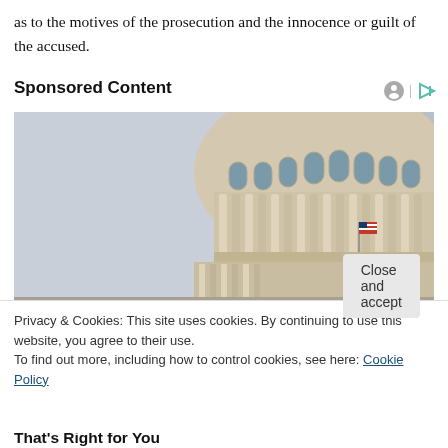as to the motives of the prosecution and the innocence or guilt of the accused.
Sponsored Content
[Figure (photo): Close-up photograph of the United States Capitol building dome from below, with an American flag visible, against a grey sky.]
Privacy & Cookies: This site uses cookies. By continuing to use this website, you agree to their use.
To find out more, including how to control cookies, see here: Cookie Policy
Close and accept
Following Political: Discover more Content That's Right for You